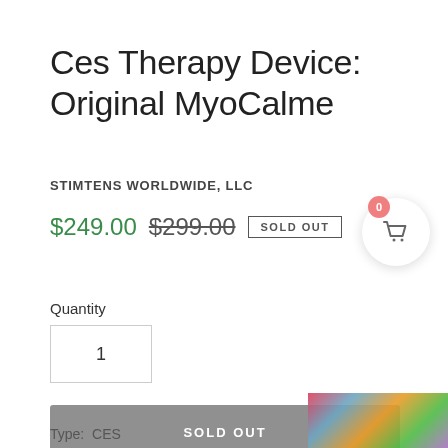Ces Therapy Device: Original MyoCalme
STIMTENS WORLDWIDE, LLC
$249.00  $299.00  SOLD OUT
Quantity
1
SOLD OUT
Type:  CES